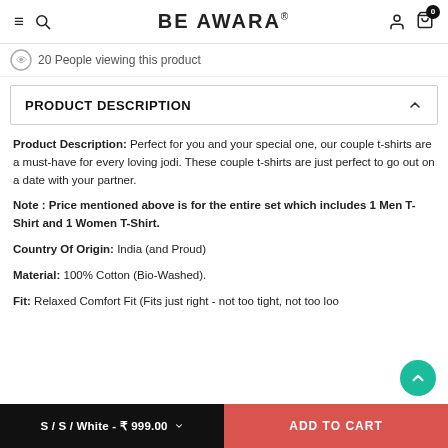BE AWARA
20 People viewing this product
PRODUCT DESCRIPTION
Product Description: Perfect for you and your special one, our couple t-shirts are a must-have for every loving jodi. These couple t-shirts are just perfect to go out on a date with your partner.
Note : Price mentioned above is for the entire set which includes 1 Men T-Shirt and 1 Women T-Shirt.
Country Of Origin: India (and Proud)
Material: 100% Cotton (Bio-Washed).
Fit: Relaxed Comfort Fit (Fits just right - not too tight, not too loo...
S / S / White - ₹ 999.00   ADD TO CART